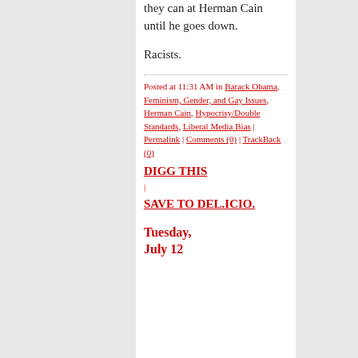they can at Herman Cain until he goes down.
Racists.
Posted at 11:31 AM in Barack Obama, Feminism, Gender, and Gay Issues, Herman Cain, Hypocrisy/Double Standards, Liberal Media Bias | Permalink | Comments (0) | TrackBack (0) DIGG THIS | SAVE TO DEL.ICIO.
Tuesday, July 12